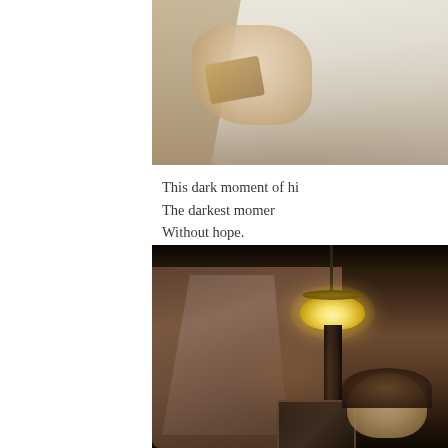[Figure (photo): A person in a white shirt holding something, cropped view from the right side of the page, showing hands and torso against a warm background]
This dark moment of hi
The darkest momer
Without hope.
[Figure (photo): A dimly lit interior room with dark wooden ceiling beams, a hanging lamp with warm glow, paneled walls, and a figure visible in the lower right portion of the image]